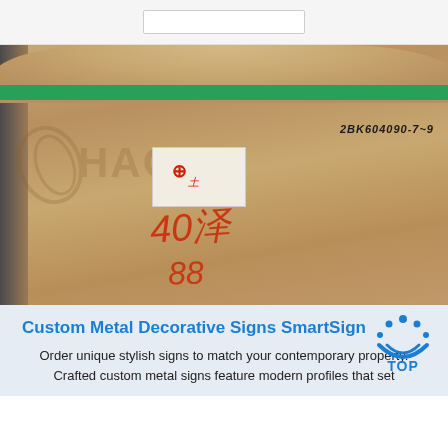[Figure (photo): A large roll of aluminum or metal sheet wrapped in brown kraft paper packaging with a green stripe at the top. A white label sticker is affixed to the front with a red marker symbol. Handwritten text in Chinese characters (红 and numbers) appears on the packaging. The code '2BK604090-7~9' is written in the upper right area. The watermark 'HAOMEI' is visible across the center of the packaging.]
Custom Metal Decorative Signs SmartSign TOP
Order unique stylish signs to match your contemporary property. Crafted custom metal signs feature modern profiles that set